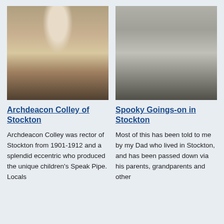[Figure (photo): Sepia-toned photograph of Archdeacon Colley, a bearded man in white clerical robes, standing near a doorway.]
[Figure (photo): Black and white photograph of a church with a round stone tower, surrounded by a graveyard with visible gravestones and a white cross.]
Archdeacon Colley of Stockton
Spooky Goings-on in Stockton
Archdeacon Colley was rector of Stockton from 1901-1912 and a splendid eccentric who produced the unique children's Speak Pipe. Locals
Most of this has been told to me by my Dad who lived in Stockton, and has been passed down via his parents, grandparents and other